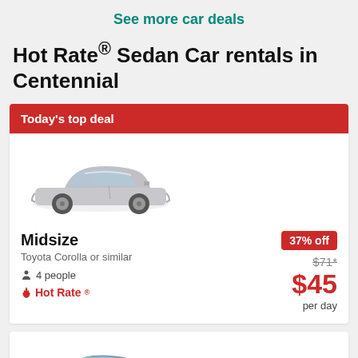See more car deals
Hot Rate® Sedan Car rentals in Centennial
Today's top deal
[Figure (photo): Silver Toyota Corolla or similar sedan car image]
Midsize
Toyota Corolla or similar
4 people
Hot Rate
37% off
$71*
$45
per day
[Figure (photo): Blue/silver sedan car image (second listing, partially visible)]